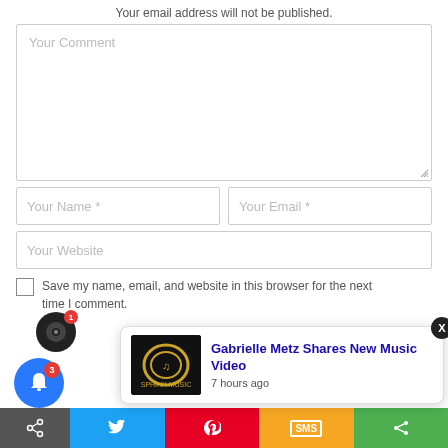Your email address will not be published.
[Figure (screenshot): Comment form textarea with placeholder 'Your Comment']
[Figure (screenshot): Name and Email input fields side by side]
[Figure (screenshot): Website input field]
Save my name, email, and website in this browser for the next time I comment.
[Figure (screenshot): Notification popup: Gabrielle Metz Shares New Music Video - 7 hours ago, with thumbnail and close button]
[Figure (screenshot): Bottom share bar with Twitter, Pinterest, SMS, and share icons; blue notification bell with badge 3; record icon with badge 1]